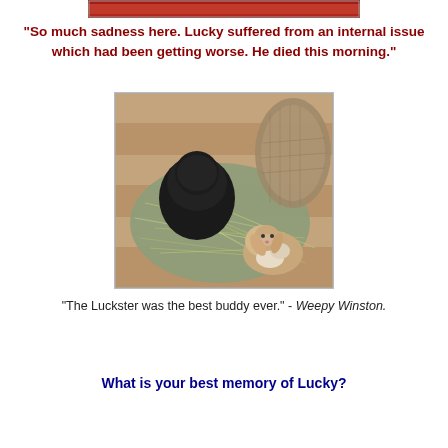[Figure (photo): Partial view of a red/dark image strip at the top of the page, cropped]
"So much sadness here. Lucky suffered from an internal issue which had been getting worse. He died this morning."
[Figure (photo): Two rabbits sitting in hay/straw — one black rabbit on the left, one small brown-and-white lop-eared rabbit on the right, with a burlap sack in the background on a wooden surface]
"The Luckster was the best buddy ever." - Weepy Winston.
What is your best memory of Lucky?